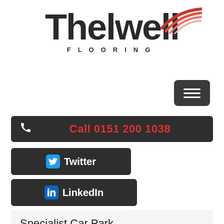[Figure (logo): Thelwell Flooring company logo with red swoosh graphic above the 'w', dark bold sans-serif text, and 'FLOORING' in spaced capitals below]
[Figure (other): Dark gray rounded hamburger menu button with three white horizontal lines]
Call 0151 200 1038
Twitter
LinkedIn
Specialist Car Park